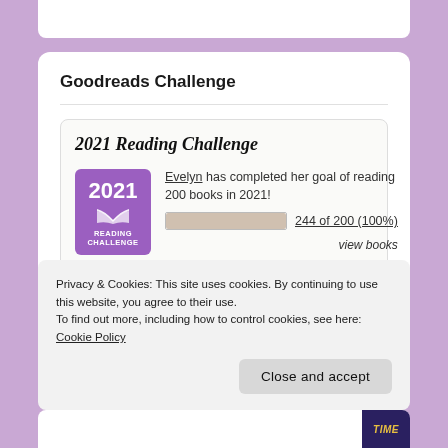Goodreads Challenge
[Figure (infographic): 2021 Reading Challenge widget showing Evelyn has completed her goal of reading 200 books in 2021. Progress bar and text '244 of 200 (100%)'. Purple badge with '2021 READING CHALLENGE'. Link 'view books'.]
Privacy & Cookies: This site uses cookies. By continuing to use this website, you agree to their use.
To find out more, including how to control cookies, see here: Cookie Policy
Close and accept